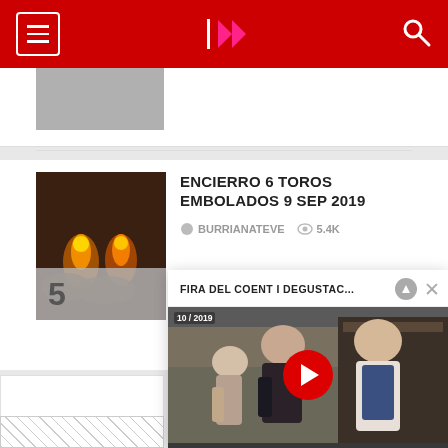Navigation bar with hamburger menu, logo, and search icon
[Figure (screenshot): Thumbnail image of bulls with fire (encierro) partially visible at top]
[Figure (screenshot): Thumbnail of encierro with fire glowing bulls in dark setting, numbered 5 at bottom]
ENCIERRO 6 TOROS EMBOLADOS 9 SEP 2019
BURRIANATEVE   5.4K
[Figure (screenshot): Video player showing people at Fira del Coent i Degustació market, with play button overlay and controls showing -28:09]
FIRA DEL COENT I DEGUSTAC...